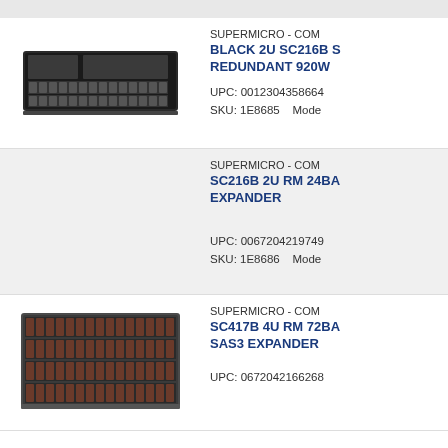[Figure (photo): Top strip with gray background, partially visible from previous row]
[Figure (photo): Photo of a 2U rack server, black, Supermicro SC216B, front view showing drive bays]
SUPERMICRO - COM
BLACK 2U SC216B S REDUNDANT 920W
UPC: 001230435866​4
SKU: 1E8685    Mode
[Figure (photo): Gray placeholder image cell for second product, no server image visible]
SUPERMICRO - COM
SC216B 2U RM 24BA EXPANDER
UPC: 006720421974​9
SKU: 1E8686    Mode
[Figure (photo): Photo of a 4U rack server, Supermicro SC417B, front view showing multiple rows of drive bays]
SUPERMICRO - COM
SC417B 4U RM 72BA SAS3 EXPANDER
UPC: 067204216626​8